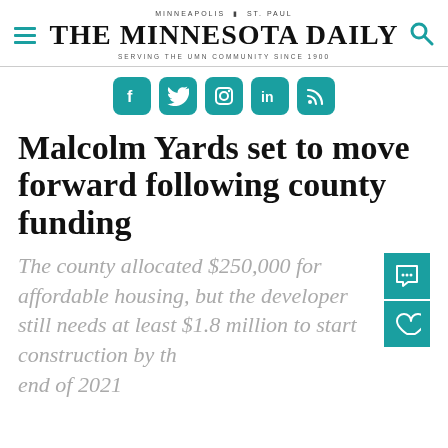MINNEAPOLIS | ST. PAUL
THE MINNESOTA DAILY
SERVING THE UMN COMMUNITY SINCE 1900
[Figure (logo): Social media icons: Facebook, Twitter, Instagram, LinkedIn, RSS — teal rounded square buttons]
Malcolm Yards set to move forward following county funding
The county allocated $250,000 for affordable housing, but the developer still needs at least $1.8 million to start construction by the end of 2021.